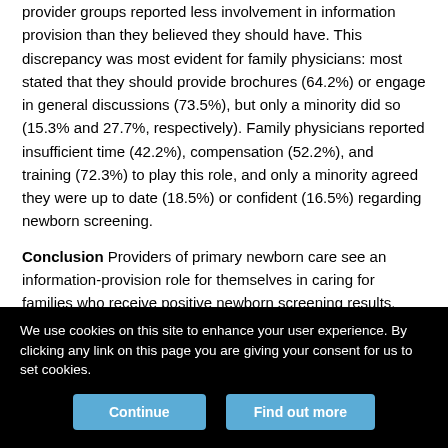provider groups reported less involvement in information provision than they believed they should have. This discrepancy was most evident for family physicians: most stated that they should provide brochures (64.2%) or engage in general discussions (73.5%), but only a minority did so (15.3% and 27.7%, respectively). Family physicians reported insufficient time (42.2%), compensation (52.2%), and training (72.3%) to play this role, and only a minority agreed they were up to date (18.5%) or confident (16.5%) regarding newborn screening.
Conclusion Providers of primary newborn care see an information-provision role for themselves in caring for families who receive positive newborn screening results. Efforts to further define the scope of this role combined with efforts to mitigate existing barriers
We use cookies on this site to enhance your user experience. By clicking any link on this page you are giving your consent for us to set cookies.